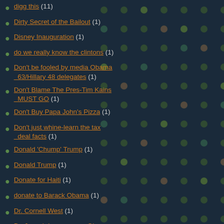digg this (11)
Dirty Secret of the Bailout (1)
Disney Inauguration (1)
do we really know the clintons (1)
Don't be fooled by media Obama 63/Hillary 48 delegates (1)
Don't Blame The Pres-Tim Kains MUST GO (1)
Don't Buy Papa John's Pizza (1)
Don't just whine-learn the tax deal facts (1)
Donald 'Chump' Trump (1)
Donald Trump (1)
Donate for Haiti (1)
donate to Barack Obama (1)
Dr. Cornell West (1)
Dr. Joseph Lowery says Obama black doubters have 'slave mentality' (1)
Drawing:Day One Obama Presidency (1)
DREAM Act (1)